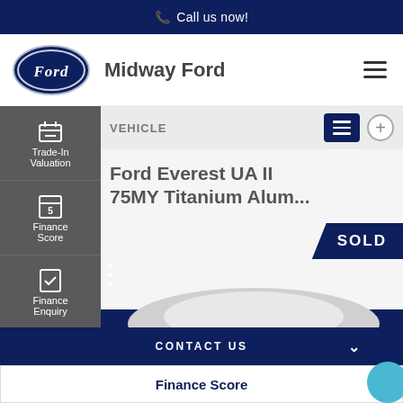Call us now!
[Figure (logo): Ford oval logo — navy blue oval with Ford script in white]
Midway Ford
VEHICLE
Ford Everest UA II 75MY Titanium Alum...
SOLD
Trade-In Valuation
Finance Score
Finance Enquiry
Book A Test Drive
CONTACT US
Finance Score